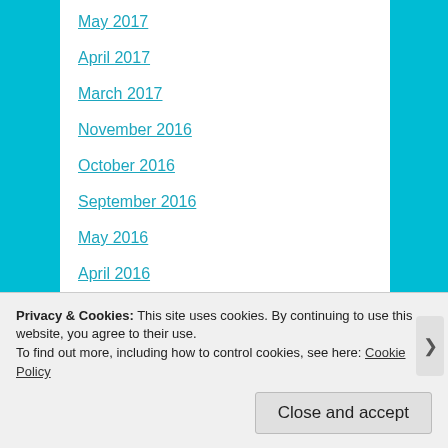May 2017
April 2017
March 2017
November 2016
October 2016
September 2016
May 2016
April 2016
March 2016
February 2016
January 2016
December 2015
Privacy & Cookies: This site uses cookies. By continuing to use this website, you agree to their use.
To find out more, including how to control cookies, see here: Cookie Policy
Close and accept